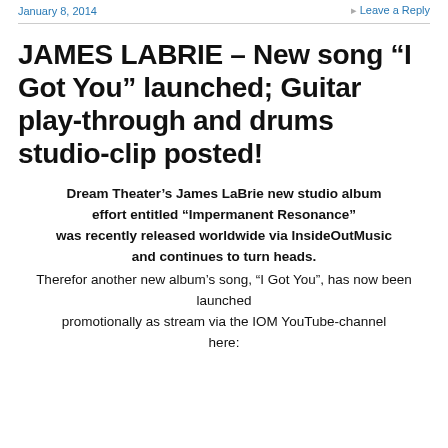January 8, 2014   Leave a Reply
JAMES LABRIE – New song “I Got You” launched; Guitar play-through and drums studio-clip posted!
Dream Theater’s James LaBrie new studio album effort entitled “Impermanent Resonance” was recently released worldwide via InsideOutMusic and continues to turn heads. Therefor another new album’s song, “I Got You”, has now been launched promotionally as stream via the IOM YouTube-channel here: